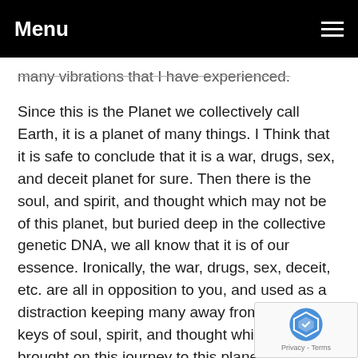Menu
many vibrations that I have experienced.
Since this is the Planet we collectively call Earth, it is a planet of many things. I Think that it is safe to conclude that it is a war, drugs, sex, and deceit planet for sure. Then there is the soul, and spirit, and thought which may not be of this planet, but buried deep in the collective genetic DNA, we all know that it is of our essence. Ironically, the war, drugs, sex, deceit, etc. are all in opposition to you, and used as a distraction keeping many away from using the keys of soul, spirit, and thought which we all brought on this journey to this planet. Funny how those keys are all inside....Moral of the story.... Winners expect to win in advance.
For those that are equipped with the most memory...Life is a self-fulfilling prophecy. Remember where you came from.